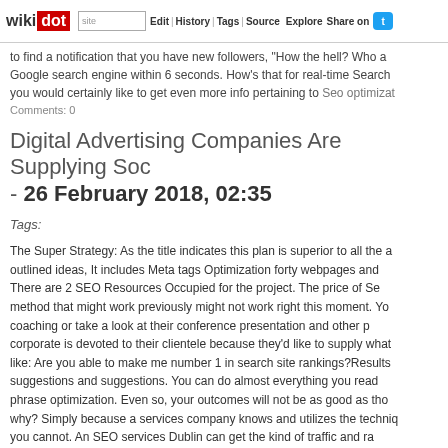wikidot | site | Edit | History | Tags | Source | Explore | Share on [Twitter]
to find a notification that you have new followers, "How the hell? Who a... Google search engine within 6 seconds. How's that for real-time Search... you would certainly like to get even more info pertaining to Seo optimizat...
Comments: 0
Digital Advertising Companies Are Supplying Soc... - 26 February 2018, 02:35
Tags:
The Super Strategy: As the title indicates this plan is superior to all the a... outlined ideas, It includes Meta tags Optimization forty webpages and ... There are 2 SEO Resources Occupied for the project. The price of S... method that might work previously might not work right this moment. Yo... coaching or take a look at their conference presentation and other p... corporate is devoted to their clientele because they'd like to supply what... like: Are you able to make me number 1 in search site rankings?Results... suggestions and suggestions. You can do almost everything you read... phrase optimization. Even so, your outcomes will not be as good as tho... why? Simply because a services company knows and utilizes the techniq... you cannot. An SEO services Dublin can get the kind of traffic and ra... personal.Although there are solely 3 objects within the guidelines, it's w... than having a clear picture about your off-site Search engine optimisatio... your incoming hyperlinks either through the use of a tool likeSEMRUSH... from Google webmaster instruments. If you have already got a subscript... your webpage in various areas with your main competitors. Yoast Seo Pr... lets you rapidly arrange redirects in your WordPress site. You possibly...